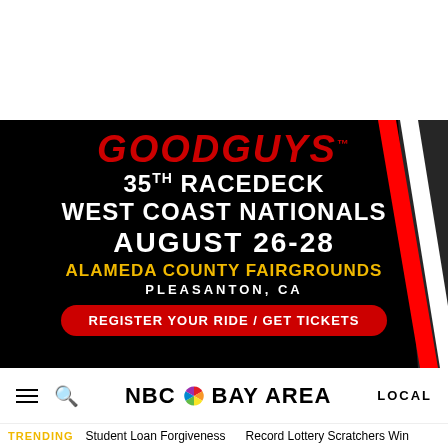[Figure (infographic): Goodguys 35th RaceDeck West Coast Nationals advertisement banner. Black background with red Goodguys logo, white text for event title and date, yellow text for venue, red button for registration. Diagonal red and white stripe on right side.]
NBC Bay Area
TRENDING   Student Loan Forgiveness   Record Lottery Scratchers Win